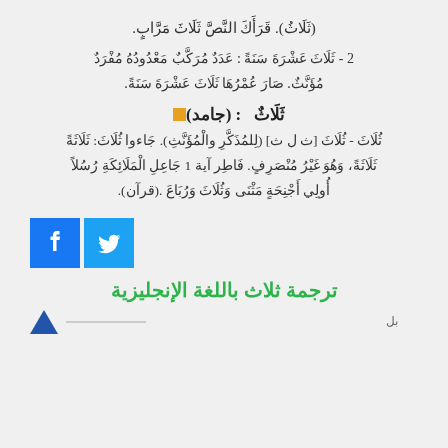(ثلاثُ). قَرَأَكَ النَّصَّ ثَلَاثَ مَرَّابٍ.
2 - ثَلَاثَ عَشْرَةَ سَنَةً : عَدَدٌ مُرَكَّبٌ مَعْدُودُهُ مُفْرَدٌ مُؤَنَّثٌ. صَارَ عُمْرُهَا ثَلَاثَ عَشْرَةَ سَنَةً.
ثَلَاثٌ : (جامد)
ثُلَاثَ - ثُلَاثَ [ث ل ث] (لِلمُذَكَّرِ والْمُؤَنَّثِ). جَاءوا ثُلَاثَ: ثَلَاثَةً ثَلَاثَةً، وَهُوَ غَيْرُ مُنْصَرِفٍ. فَاطِر آية 1 جَاعِلِ الْمَلَائِكَةِ رُسُلاً أُولِي أَجْنِحَةٍ مَثْنَى وَثُلَاثَ وَرُبَاعَ .(قرآن).
[Figure (other): Facebook and Twitter social media icons]
ترجمة ثلاث باللغة الإنجليزية